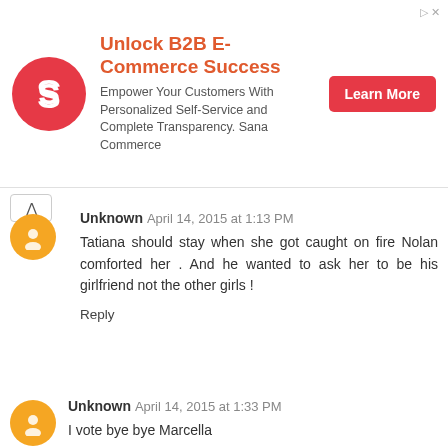[Figure (other): Advertisement banner for Sana Commerce B2B E-Commerce with logo, text, and Learn More button]
Unknown April 14, 2015 at 1:13 PM
Tatiana should stay when she got caught on fire Nolan comforted her . And he wanted to ask her to be his girlfriend not the other girls !
Reply
Unknown April 14, 2015 at 1:33 PM
I vote bye bye Marcella
Reply
Unknown April 14, 2015 at 1:48 PM
I vote for marcella to win.
Reply